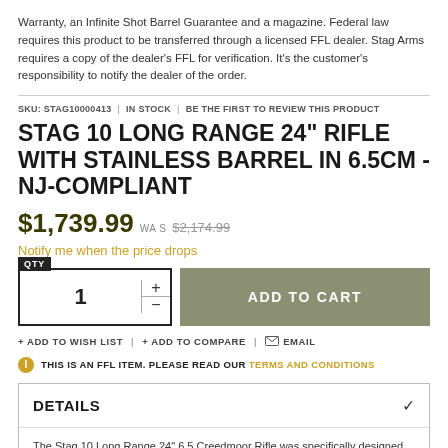Warranty, an Infinite Shot Barrel Guarantee and a magazine. Federal law requires this product to be transferred through a licensed FFL dealer. Stag Arms requires a copy of the dealer's FFL for verification. It's the customer's responsibility to notify the dealer of the order.
SKU: STAG10000413 | IN STOCK | BE THE FIRST TO REVIEW THIS PRODUCT
STAG 10 LONG RANGE 24" RIFLE WITH STAINLESS BARREL IN 6.5CM - NJ-COMPLIANT
$1,739.99 WAS $2,174.99
Notify me when the price drops
QTY 1 + - ADD TO CART
+ ADD TO WISH LIST | + ADD TO COMPARE | EMAIL
THIS IS AN FFL ITEM. PLEASE READ OUR TERMS AND CONDITIONS
DETAILS
The Stag 10 Long Range 24" 6.5 Creedmoor Rifle was specifically designed for long range use. This rifle uses the 6.5 Creedmoor cartridge for increased